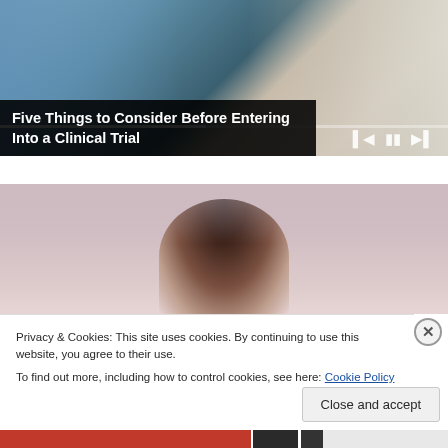[Figure (screenshot): Video thumbnail showing medical professionals (doctors/nurses) with a patient, with video playback controls and progress bar visible]
Five Things to Consider Before Entering Into a Clinical Trial
[Figure (photo): Blurred/out-of-focus photo showing the top of a person's head with dark hair, muted pink/gray background tones]
Privacy & Cookies: This site uses cookies. By continuing to use this website, you agree to their use.
To find out more, including how to control cookies, see here: Cookie Policy
Close and accept